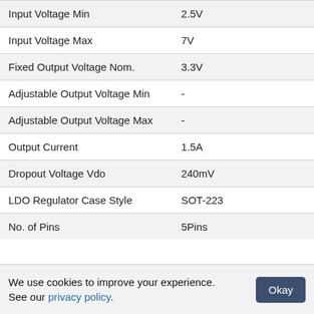| Property | Value |
| --- | --- |
| Input Voltage Min | 2.5V |
| Input Voltage Max | 7V |
| Fixed Output Voltage Nom. | 3.3V |
| Adjustable Output Voltage Min | - |
| Adjustable Output Voltage Max | - |
| Output Current | 1.5A |
| Dropout Voltage Vdo | 240mV |
| LDO Regulator Case Style | SOT-223 |
| No. of Pins | 5Pins |
We use cookies to improve your experience. See our privacy policy.